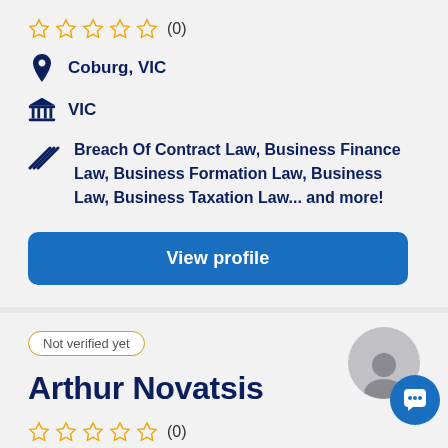[Figure (other): Five empty star rating icons followed by review count (0)]
Coburg, VIC
VIC
Breach Of Contract Law, Business Finance Law, Business Formation Law, Business Law, Business Taxation Law... and more!
View profile
Not verified yet
Arthur Novatsis
[Figure (other): Five empty star rating icons followed by review count (0)]
[Figure (other): Avatar placeholder circle with a generic person silhouette, and a blue chat button below]